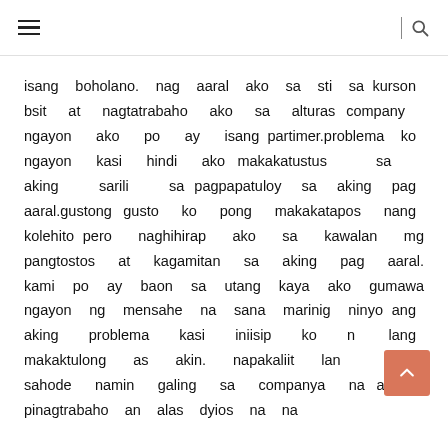☰ | 🔍
isang boholano. nag aaral ako sa sti sa kurson bsit at nagtatrabaho ako sa alturas company ngayon ako po ay isang partimer.problema ko ngayon kasi hindi ako makakatustus sa aking sarili sa pagpapatuloy sa aking pag aaral.gustong gusto ko pong makakatapos nang kolehito pero naghihirap ako sa kawalan mg pangtostos at kagamitan sa aking pag aaral. kami po ay baon sa utang kaya ako gumawa ngayon ng mensahe na sana marinig ninyo ang aking problema kasi iniisip ko na kaw lang makaktulong as akin. napakaliit lang po ang sahode namin galing sa companya na aming pinagtrabaho an alas dyios na na